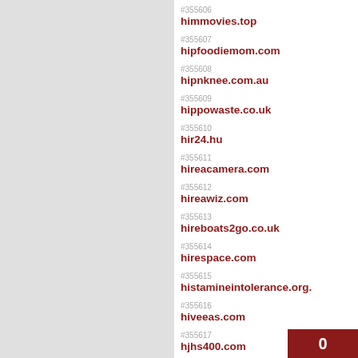#355606 himmovies.top
#355607 hipfoodiemom.com
#355608 hipnknee.com.au
#355609 hippowaste.co.uk
#355610 hir24.hu
#355611 hireacamera.com
#355612 hireawiz.com
#355613 hireboats2go.co.uk
#355614 hirespace.com
#355615 histamineintolerance.org.
#355616 hiveeas.com
#355617 hjhs400.com